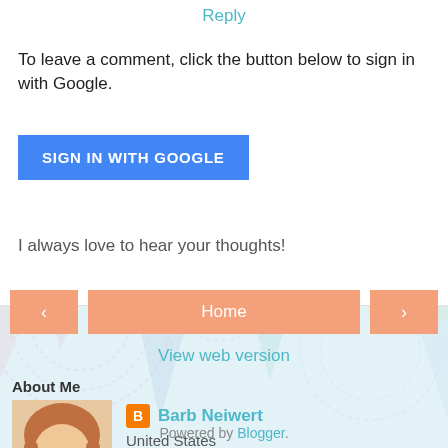Reply
To leave a comment, click the button below to sign in with Google.
SIGN IN WITH GOOGLE
I always love to hear your thoughts!
< Home >
View web version
About Me
[Figure (photo): Profile photo of Barb Neiwert, a woman with red-brown hair and glasses, smiling]
Barb Neiwert
United States
View my complete profile
Powered by Blogger.